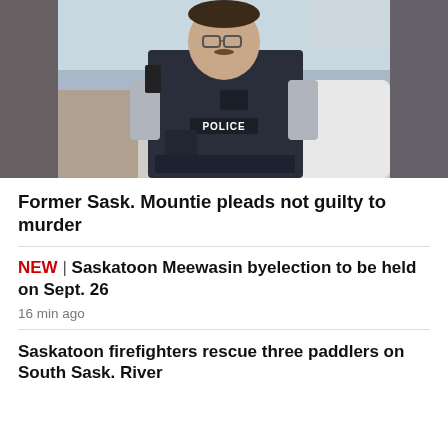[Figure (photo): A police officer in RCMP-style uniform and body armor labeled POLICE, standing outdoors near a vehicle, wearing glasses and a mustache.]
Former Sask. Mountie pleads not guilty to murder
NEW | Saskatoon Meewasin byelection to be held on Sept. 26
16 min ago
Saskatoon firefighters rescue three paddlers on South Sask. River